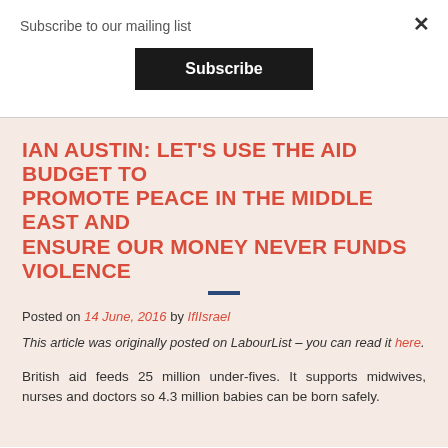Subscribe to our mailing list
Subscribe
IAN AUSTIN: LET'S USE THE AID BUDGET TO PROMOTE PEACE IN THE MIDDLE EAST AND ENSURE OUR MONEY NEVER FUNDS VIOLENCE
Posted on 14 June, 2016 by IfIIsrael
This article was originally posted on LabourList – you can read it here.
British aid feeds 25 million under-fives. It supports midwives, nurses and doctors so 4.3 million babies can be born safely.